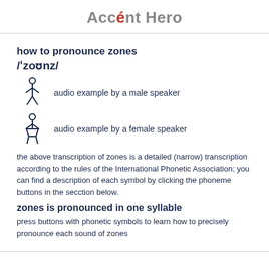Accént Hero
how to pronounce zones
/ˈzoʊnz/
audio example by a male speaker
audio example by a female speaker
the above transcription of zones is a detailed (narrow) transcription according to the rules of the International Phonetic Association; you can find a description of each symbol by clicking the phoneme buttons in the secction below.
zones is pronounced in one syllable
press buttons with phonetic symbols to learn how to precisely pronounce each sound of zones